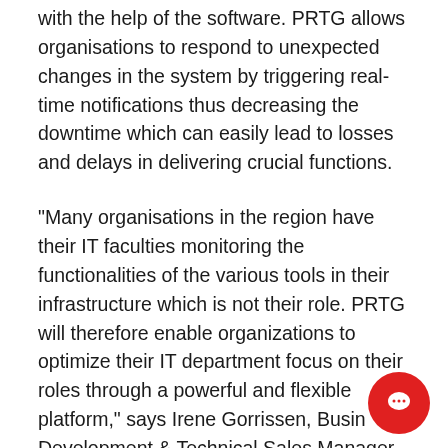with the help of the software. PRTG allows organisations to respond to unexpected changes in the system by triggering real-time notifications thus decreasing the downtime which can easily lead to losses and delays in delivering crucial functions.
“Many organisations in the region have their IT faculties monitoring the functionalities of the various tools in their infrastructure which is not their role. PRTG will therefore enable organizations to optimize their IT department focus on their roles through a powerful and flexible platform,” says Irene Gorrissen, Business Development & Technical Sales Manager for Africa.